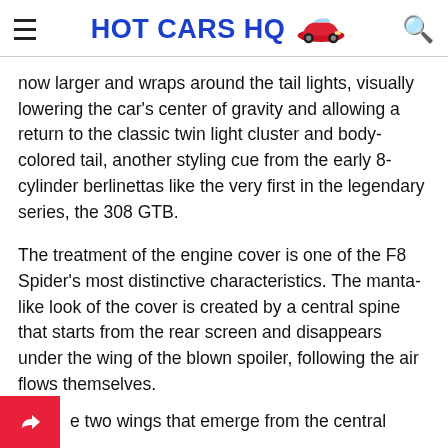HOT CARS HQ
now larger and wraps around the tail lights, visually lowering the car's center of gravity and allowing a return to the classic twin light cluster and body-colored tail, another styling cue from the early 8-cylinder berlinettas like the very first in the legendary series, the 308 GTB.
The treatment of the engine cover is one of the F8 Spider's most distinctive characteristics. The manta-like look of the cover is created by a central spine that starts from the rear screen and disappears under the wing of the blown spoiler, following the air flows themselves.
e two wings that emerge from the central